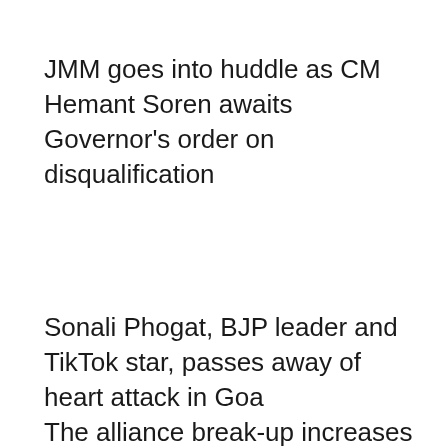JMM goes into huddle as CM Hemant Soren awaits Governor's order on disqualification
Sonali Phogat, BJP leader and TikTok star, passes away of heart attack in Goa
The alliance break-up increases the possibility of